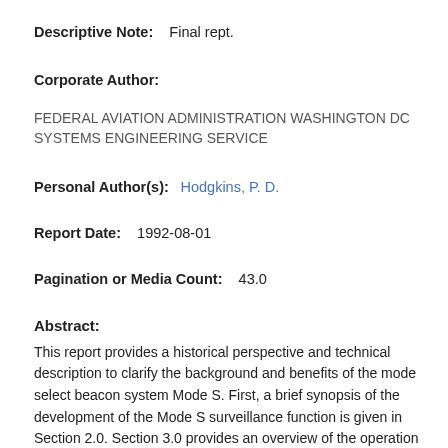Descriptive Note:    Final rept.
Corporate Author:
FEDERAL AVIATION ADMINISTRATION WASHINGTON DC SYSTEMS ENGINEERING SERVICE
Personal Author(s):    Hodgkins, P. D.
Report Date:    1992-08-01
Pagination or Media Count:    43.0
Abstract:
This report provides a historical perspective and technical description to clarify the background and benefits of the mode select beacon system Mode S. First, a brief synopsis of the development of the Mode S surveillance function is given in Section 2.0. Section 3.0 provides an overview of the operation of both ATCRBS and Mode S systems to highlight